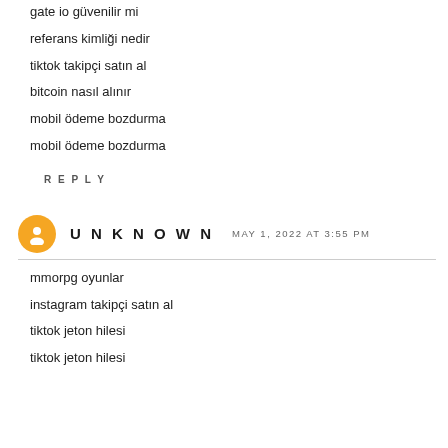gate io güvenilir mi
referans kimliği nedir
tiktok takipçi satın al
bitcoin nasıl alınır
mobil ödeme bozdurma
mobil ödeme bozdurma
REPLY
UNKNOWN  MAY 1, 2022 AT 3:55 PM
mmorpg oyunlar
instagram takipçi satın al
tiktok jeton hilesi
tiktok jeton hilesi